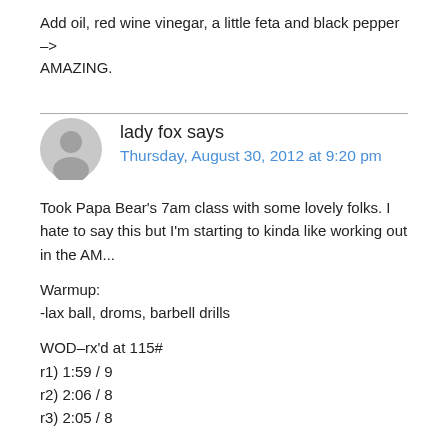Add oil, red wine vinegar, a little feta and black pepper –> AMAZING.
lady fox says
Thursday, August 30, 2012 at 9:20 pm
Took Papa Bear's 7am class with some lovely folks. I hate to say this but I'm starting to kinda like working out in the AM...
Warmup:
-lax ball, droms, barbell drills
WOD–rx'd at 115#
r1) 1:59 / 9
r2) 2:06 / 8
r3) 2:05 / 8